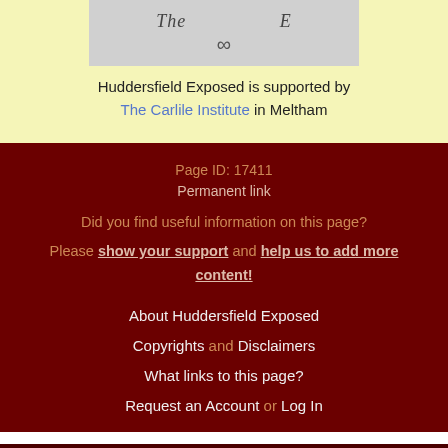[Figure (logo): Partial logo image with decorative infinity-like symbol on grey background]
Huddersfield Exposed is supported by The Carlile Institute in Meltham
Page ID: 17411
Permanent link
Did you find useful information on this page?
Please show your support and help us to add more content!
About Huddersfield Exposed
Copyrights and Disclaimers
What links to this page?
Request an Account or Log In
this site is hosted by huddersfield.click